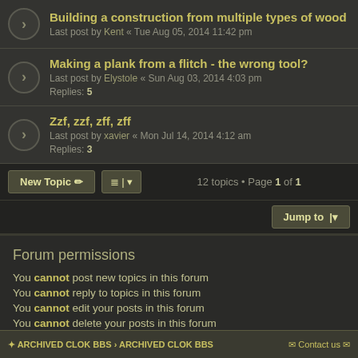Building a construction from multiple types of wood
Last post by Kent « Tue Aug 05, 2014 11:42 pm
Making a plank from a flitch - the wrong tool?
Last post by Elystole « Sun Aug 03, 2014 4:03 pm
Replies: 5
Zzf, zzf, zff, zff
Last post by xavier « Mon Jul 14, 2014 4:12 am
Replies: 3
12 topics • Page 1 of 1
Forum permissions
You cannot post new topics in this forum
You cannot reply to topics in this forum
You cannot edit your posts in this forum
You cannot delete your posts in this forum
You cannot post attachments in this forum
ARCHIVED CLOK BBS › ARCHIVED CLOK BBS   Contact us